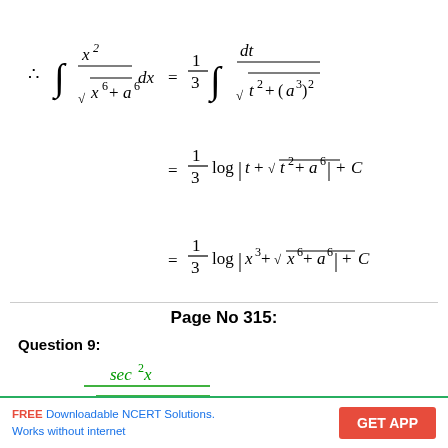Page No 315:
Question 9:
ANSWER:
FREE Downloadable NCERT Solutions. Works without internet   GET APP